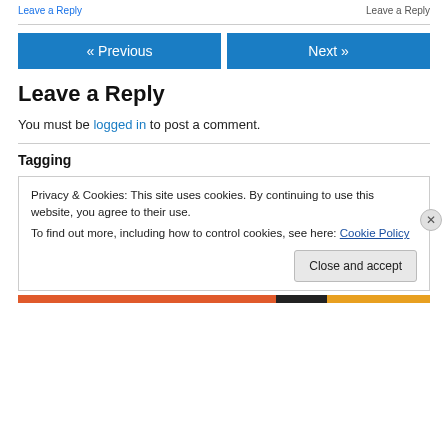Leave a Reply
« Previous  Next »
Leave a Reply
You must be logged in to post a comment.
Tagging
Privacy & Cookies: This site uses cookies. By continuing to use this website, you agree to their use.
To find out more, including how to control cookies, see here: Cookie Policy
Close and accept